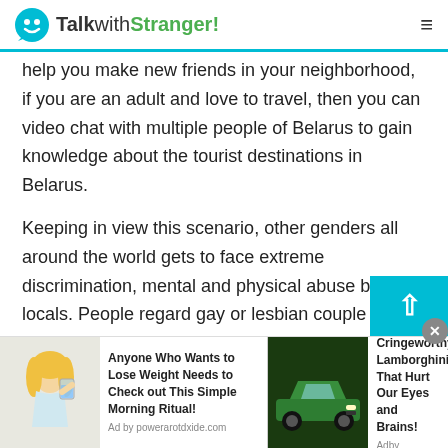TalkwithStranger!
help you make new friends in your neighborhood, if you are an adult and love to travel, then you can video chat with multiple people of Belarus to gain knowledge about the tourist destinations in Belarus.
Keeping in view this scenario, other genders all around the world gets to face extreme discrimination, mental and physical abuse by the locals. People regard gay or lesbian couple as a disgrace to the society. This is one of the reasons why these people are socially isolated. Nobody likes to be friends with them or hangout with them.
[Figure (screenshot): Advertisement bar at bottom with two ads: left ad shows a woman drinking water with text 'Anyone Who Wants to Lose Weight Needs to Check out This Simple Morning Ritual!' and right ad shows a Lamborghini car with text '20 Cringeworthy Lamborghinis That Hurt Our Eyes and Brains!']